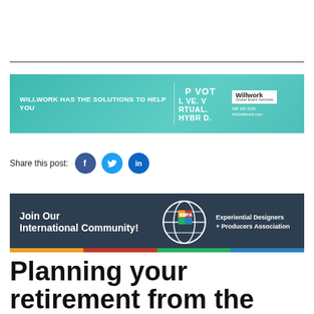[Figure (infographic): Willwork Global Event Services banner ad: teal background, text 'WILLWORK HAS THE SOLUTIONS TO HELP YOU | PIVOT LIVE. VIRTUAL. HYBRID.' with Willwork logo and contact info]
Share this post:
[Figure (infographic): EDPA (Experiential Designers + Producers Association) banner: dark navy background, 'Join Our International Community!' text with EDPA logo and colored bottom strip]
Planning your retirement from the